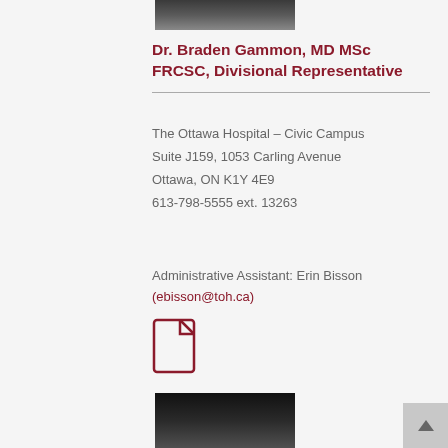[Figure (photo): Partial photo of Dr. Braden Gammon at top of page (cropped, showing suit and tie)]
Dr. Braden Gammon, MD MSc FRCSC, Divisional Representative
The Ottawa Hospital – Civic Campus
Suite J159, 1053 Carling Avenue
Ottawa, ON K1Y 4E9
613-798-5555 ext. 13263
Administrative Assistant: Erin Bisson
(ebisson@toh.ca)
[Figure (illustration): Document/file icon in dark red outline]
[Figure (photo): Partial photo of another person at the bottom of the page (cropped, showing face from forehead)]